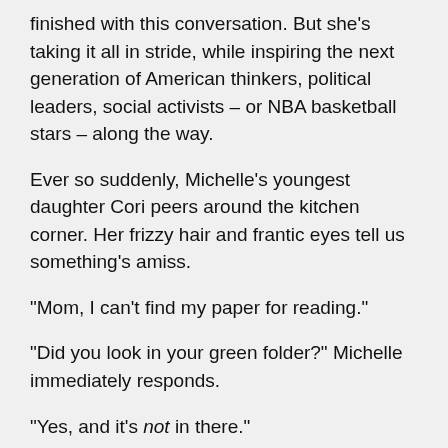finished with this conversation. But she's taking it all in stride, while inspiring the next generation of American thinkers, political leaders, social activists – or NBA basketball stars – along the way.
Ever so suddenly, Michelle's youngest daughter Cori peers around the kitchen corner. Her frizzy hair and frantic eyes tell us something's amiss.
“Mom, I can’t find my paper for reading.”
“Did you look in your green folder?” Michelle immediately responds.
“Yes, and it’s not in there.”
Michelle looks back to me, her eyes betray the want to continue this discussion but the need to ease her daughter’s worry.